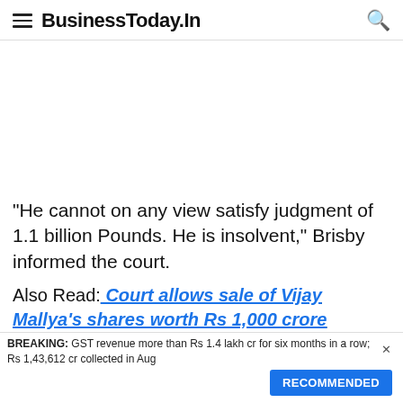BusinessToday.In
[Figure (other): Advertisement / blank white space area]
"He cannot on any view satisfy judgment of 1.1 billion Pounds. He is insolvent," Brisby informed the court.
Also Read: Court allows sale of Vijay Mallya's shares worth Rs 1,000 crore
BREAKING: GST revenue more than Rs 1.4 lakh cr for six months in a row; Rs 1,43,612 cr collected in Aug
RECOMMENDED